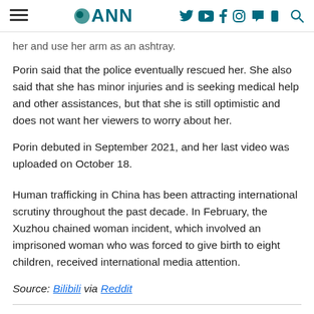ANN
her and use her arm as an ashtray.
Porin said that the police eventually rescued her. She also said that she has minor injuries and is seeking medical help and other assistances, but that she is still optimistic and does not want her viewers to worry about her.
Porin debuted in September 2021, and her last video was uploaded on October 18.
Human trafficking in China has been attracting international scrutiny throughout the past decade. In February, the Xuzhou chained woman incident, which involved an imprisoned woman who was forced to give birth to eight children, received international media attention.
Source: Bilibili via Reddit